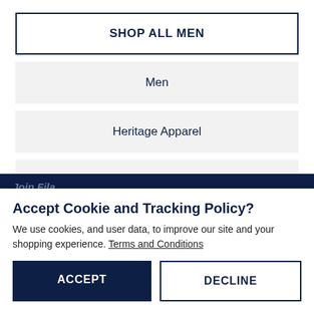SHOP ALL MEN
Men
Heritage Apparel
Sweatshirts & Hoodies
Join Fila
Accept Cookie and Tracking Policy?
We use cookies, and user data, to improve our site and your shopping experience. Terms and Conditions
ACCEPT
DECLINE